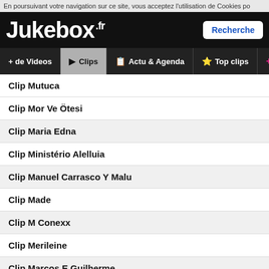En poursuivant votre navigation sur ce site, vous acceptez l'utilisation de Cookies po
Jukebox.fr
Recherche
+ de Videos
Clips
Actu & Agenda
Top clips
Playlist
Clip Mutuca
Clip Mor Ve Ötesi
Clip Maria Edna
Clip Ministério Alelluia
Clip Manuel Carrasco Y Malu
Clip Made
Clip M Conexx
Clip Merileine
Clip Marcos E Guilherme
Clip Madame Butterfly
Clip Música Colombiana